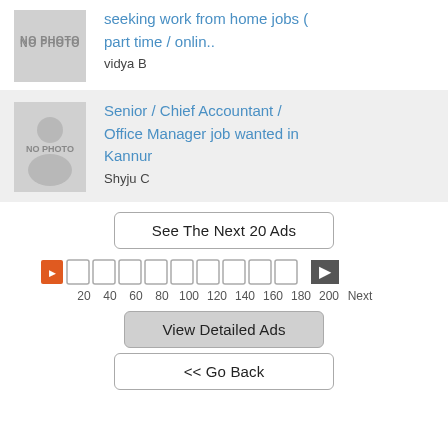seeking work from home jobs ( part time / onlin..
vidya B
Senior / Chief Accountant / Office Manager job wanted in Kannur
Shyju C
See The Next 20 Ads
[Figure (infographic): Pagination row with page icons numbered 20, 40, 60, 80, 100, 120, 140, 160, 180, 200, Next, with first icon highlighted in orange and a right arrow at the end]
View Detailed Ads
<< Go Back